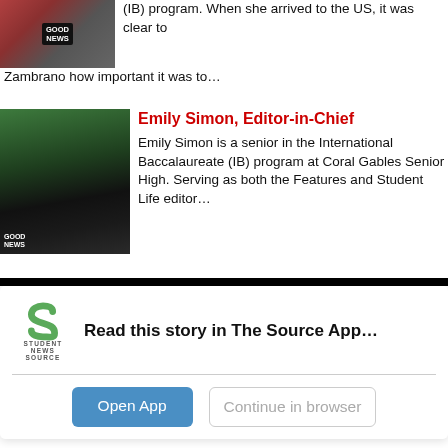[Figure (photo): Photo of person in Good News shirt at outdoor event]
(IB) program. When she arrived to the US, it was clear to Zambrano how important it was to…
[Figure (photo): Photo of Emily Simon and others in Good News shirts outdoors]
Emily Simon, Editor-in-Chief
Emily Simon is a senior in the International Baccalaureate (IB) program at Coral Gables Senior High. Serving as both the Features and Student Life editor…
Read this story in The Source App...
Open App
Continue in browser